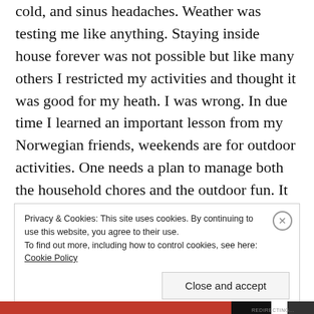cold, and sinus headaches. Weather was testing me like anything. Staying inside house forever was not possible but like many others I restricted my activities and thought it was good for my heath. I was wrong. In due time I learned an important lesson from my Norwegian friends, weekends are for outdoor activities. One needs a plan to manage both the household chores and the outdoor fun. It sounds difficult but working on it was a kind of fun. Weather played an important role and we started to plan things accordingly.
Privacy & Cookies: This site uses cookies. By continuing to use this website, you agree to their use. To find out more, including how to control cookies, see here: Cookie Policy
Close and accept